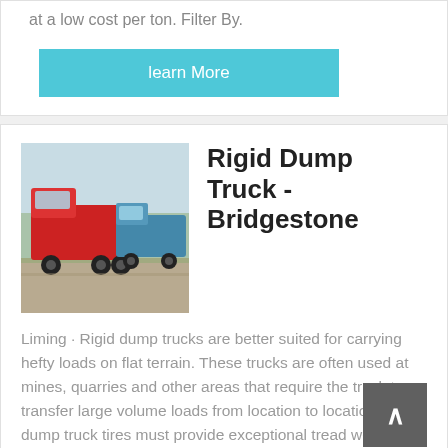at a low cost per ton. Filter By.
learn More
[Figure (photo): Red dump trucks parked on a road with trees in background]
Rigid Dump Truck - Bridgestone
Liming · Rigid dump trucks are better suited for carrying hefty loads on flat terrain. These trucks are often used at mines, quarries and other areas that require the truck to transfer large volume loads from location to location. Rigid dump truck tires must provide exceptional tread wear and